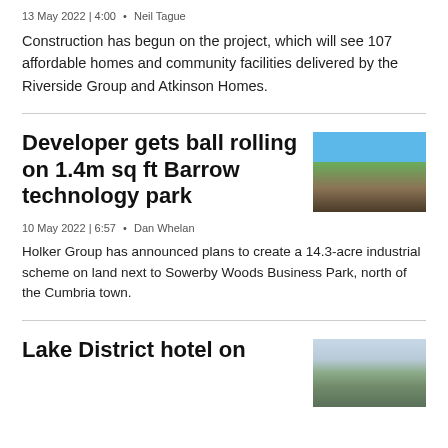13 May 2022 | 4:00  •  Neil Tague
Construction has begun on the project, which will see 107 affordable homes and community facilities delivered by the Riverside Group and Atkinson Homes.
Developer gets ball rolling on 1.4m sq ft Barrow technology park
[Figure (photo): Aerial or ground-level view of open green field land under a blue sky, the site for the Barrow technology park.]
10 May 2022 | 6:57  •  Dan Whelan
Holker Group has announced plans to create a 14.3-acre industrial scheme on land next to Sowerby Woods Business Park, north of the Cumbria town.
Lake District hotel on
[Figure (photo): Photo of a Lake District hotel building surrounded by trees and gardens.]